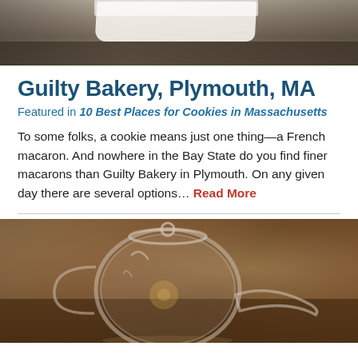[Figure (photo): Top portion of a photo showing a dark wooden table with a white cloth/napkin and some objects, dimly lit restaurant setting]
Guilty Bakery, Plymouth, MA
Featured in 10 Best Places for Cookies in Massachusetts
To some folks, a cookie means just one thing—a French macaron. And nowhere in the Bay State do you find finer macarons than Guilty Bakery in Plymouth. On any given day there are several options… Read More
[Figure (photo): Close-up photo of a clear glass teapot with a lid, sitting on a dark wooden surface, warm bokeh background]